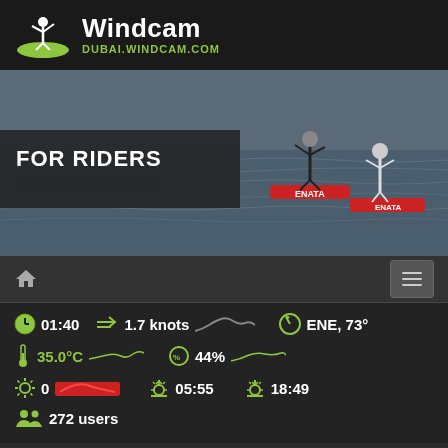[Figure (logo): Windcam logo with green kitesurfer silhouette icon and text 'Windcam' in white, 'DUBAI.WINDCAM.COM' in green]
[Figure (photo): Banner photo of two kitesurfers on water with ENATA brand boards. Text overlay 'FOR RIDERS' on dark background.]
FOR RIDERS
01:40   1.7 knots   ENE, 73°   35.0°C   44%   0   05:55   18:49   272 users
Gallery   Submit a picture